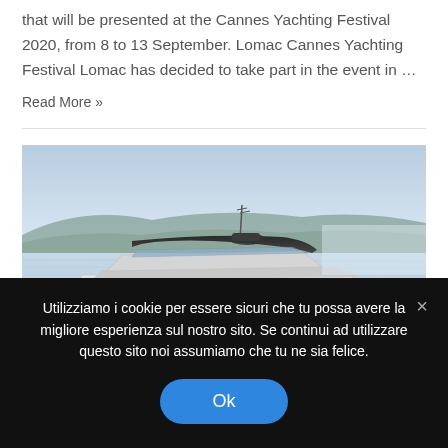that will be presented at the Cannes Yachting Festival 2020, from 8 to 13 September. Lomac Cannes Yachting Festival Lomac has decided to take part in the event in …
Read More »
[Figure (photo): A luxury motor yacht photographed from the stern, on calm water with hills in the background under a hazy sky.]
Utilizziamo i cookie per essere sicuri che tu possa avere la migliore esperienza sul nostro sito. Se continui ad utilizzare questo sito noi assumiamo che tu ne sia felice.
Ok